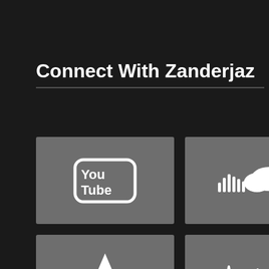Connect With Zanderjaz
[Figure (logo): YouTube logo icon in white on gray background]
[Figure (logo): SoundCloud logo icon in white on gray background]
[Figure (logo): Star/Bandcamp icon in white on gray background]
[Figure (logo): Audio waveform icon in white on gray background]